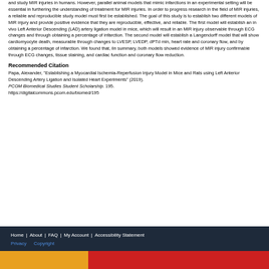and study MIR injuries in humans. However, parallel animal models that mimic infarctions in an experimental setting will be essential in furthering the understanding of treatment for MIR injuries. In order to progress research in the field of MIR injuries, a reliable and reproducible study model must first be established. The goal of this study is to establish two different models of MIR injury and provide positive evidence that they are reproducible, effective, and reliable. The first model will establish an in vivo Left Anterior Descending (LAD) artery ligation model in mice, which will result in an MIR injury observable through ECG changes and through obtaining a percentage of infarction. The second model will establish a Langendorff model that will show cardiomyocyte death, measurable through changes to LVESP, LVEDP, dPTd min, heart rate and coronary flow, and by obtaining a percentage of infarction. We found that, iln summary, both models showed evidence of MIR injury confirmable through ECG changes, tissue staining, and cardiac function and coronary flow reduction.
Recommended Citation
Papa, Alexander, "Establishing a Myocardial Ischemia-Reperfusion Injury Model in Mice and Rats using Left Anterior Descending Artery Ligation and Isolated Heart Experiments" (2019). PCOM Biomedical Studies Student Scholarship. 195. https://digitalcommons.pcom.edu/biomed/195
Home | About | FAQ | My Account | Accessibility Statement Privacy Copyright